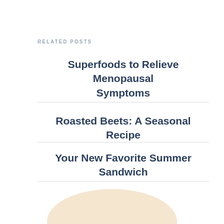RELATED POSTS
Superfoods to Relieve Menopausal Symptoms
Roasted Beets: A Seasonal Recipe
Your New Favorite Summer Sandwich